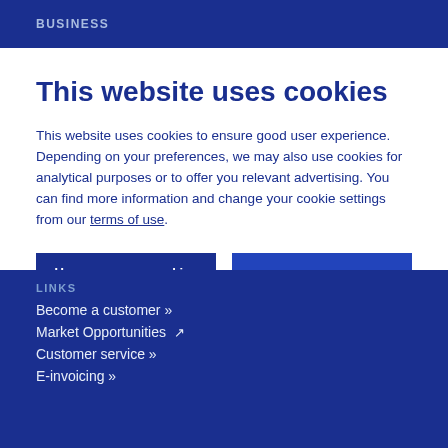BUSINESS
This website uses cookies
This website uses cookies to ensure good user experience. Depending on your preferences, we may also use cookies for analytical purposes or to offer you relevant advertising. You can find more information and change your cookie settings from our terms of use.
Use necessary cookies only | Allow all cookies
Show details
LINKS
Become a customer »
Market Opportunities ↗
Customer service »
E-invoicing »